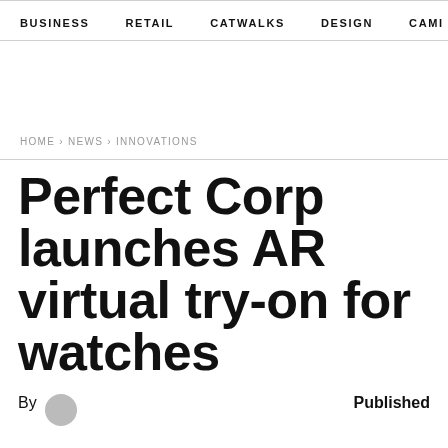BUSINESS   RETAIL   CATWALKS   DESIGN   CAMI  >
HOME › NEWS › INNOVATIONS
Perfect Corp launches AR virtual try-on for watches
By   Published